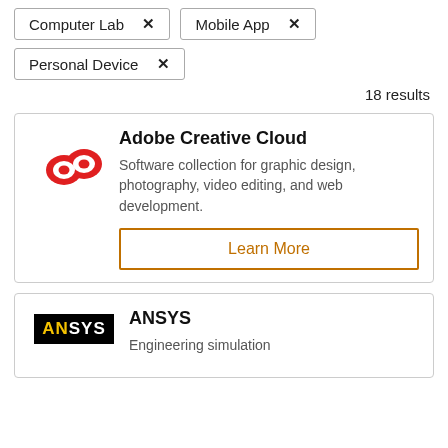Computer Lab ×
Mobile App ×
Personal Device ×
18 results
[Figure (logo): Adobe Creative Cloud red infinity/cloud logo]
Adobe Creative Cloud
Software collection for graphic design, photography, video editing, and web development.
Learn More
[Figure (logo): ANSYS logo: black rectangle with white ANSYS text, yellow highlighting on AN]
ANSYS
Engineering simulation